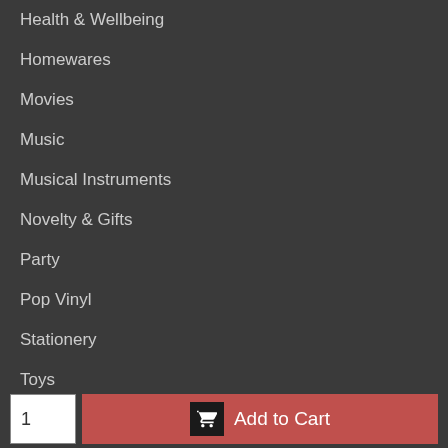Health & Wellbeing
Homewares
Movies
Music
Musical Instruments
Novelty & Gifts
Party
Pop Vinyl
Stationery
Toys
TV
QUICK LINKS